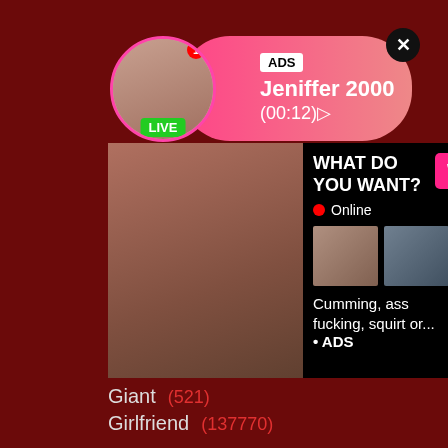[Figure (infographic): Ad banner with avatar circle showing woman photo, LIVE badge, ADS label, name Jeniffer 2000, time (00:12), pink gradient background, close X button]
[Figure (infographic): Adult content advertisement block with photo on left, right panel showing WHAT DO YOU WANT? text, WATCH button, Online status, thumbnail images, text 'Cumming, ass fucking, squirt or...', ADS label, close X button]
Giant (521)
Girlfriend (137770)
Glory hole (3544)
Gorgeous (168289)
Goth (699)
Group sex (135688)